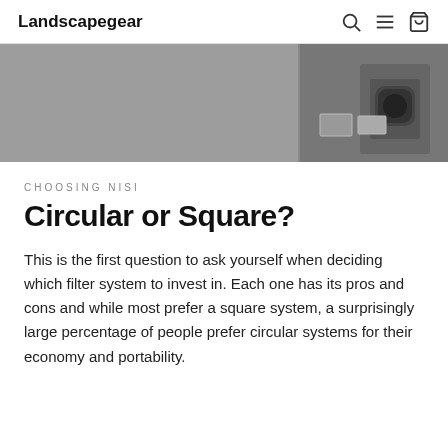Landscapegear
[Figure (photo): Grey background hero image showing a camera filter system/lens equipment partially visible on the right side]
CHOOSING NISI
Circular or Square?
This is the first question to ask yourself when deciding which filter system to invest in. Each one has its pros and cons and while most prefer a square system, a surprisingly large percentage of people prefer circular systems for their economy and portability.